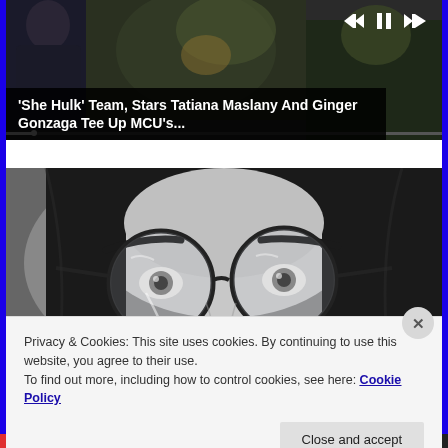[Figure (screenshot): Video player showing a scene with people, with playback controls (skip back, pause, skip forward) in top right, and a progress bar near the bottom.]
'She Hulk' Team, Stars Tatiana Maslany And Ginger Gonzaga Tee Up MCU's...
[Figure (photo): Black and white close-up photograph of a person wearing round wire-framed glasses, with long dark hair, eyes looking directly at camera.]
Privacy & Cookies: This site uses cookies. By continuing to use this website, you agree to their use.
To find out more, including how to control cookies, see here: Cookie Policy
Close and accept